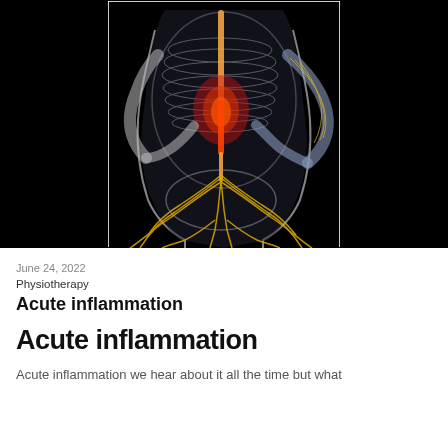[Figure (illustration): Medical illustration of a human body (posterior view, transparent/X-ray style) against a black background, showing the spine highlighted in red/orange indicating inflammation or pain, with yellow nerve pathways visible in the lower back and pelvis area, and the arms positioned with hands on hips.]
June 24, 2022
Physiotherapy
Acute inflammation
Acute inflammation
Acute inflammation we hear about it all the time but what